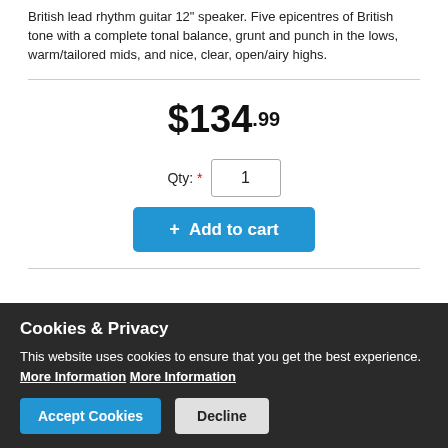British lead rhythm guitar 12" speaker. Five epicentres of British tone with a complete tonal balance, grunt and punch in the lows, warm/tailored mids, and nice, clear, open/airy highs.
$134.99
Qty: * 1
+ Add to cart
[Figure (photo): Bottom/back view of a circular speaker driver (subwoofer/woofer) showing the speaker's rear cone/basket structure in dark gray/black.]
Cookies & Privacy
This website uses cookies to ensure that you get the best experience. More Information More Information
[Accept Cookies] [Decline]